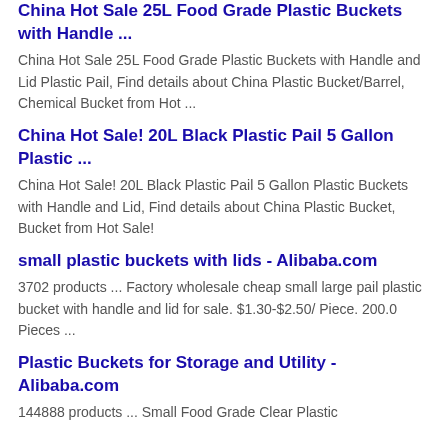China Hot Sale 25L Food Grade Plastic Buckets with Handle ...
China Hot Sale 25L Food Grade Plastic Buckets with Handle and Lid Plastic Pail, Find details about China Plastic Bucket/Barrel, Chemical Bucket from Hot ...
China Hot Sale! 20L Black Plastic Pail 5 Gallon Plastic ...
China Hot Sale! 20L Black Plastic Pail 5 Gallon Plastic Buckets with Handle and Lid, Find details about China Plastic Bucket, Bucket from Hot Sale!
small plastic buckets with lids - Alibaba.com
3702 products ... Factory wholesale cheap small large pail plastic bucket with handle and lid for sale. $1.30-$2.50/ Piece. 200.0 Pieces ...
Plastic Buckets for Storage and Utility - Alibaba.com
144888 products ... Small Food Grade Clear Plastic